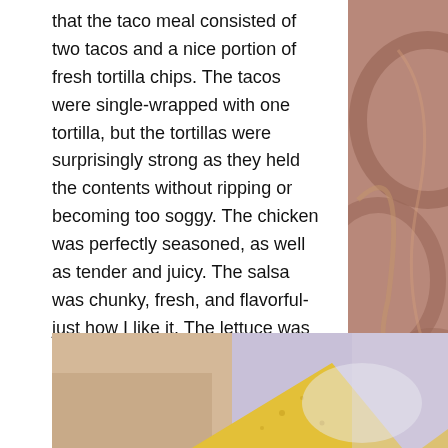that the taco meal consisted of two tacos and a nice portion of fresh tortilla chips. The tacos were single-wrapped with one tortilla, but the tortillas were surprisingly strong as they held the contents without ripping or becoming too soggy. The chicken was perfectly seasoned, as well as tender and juicy. The salsa was chunky, fresh, and flavorful- just how I like it. The lettuce was also noticeably fresh. The accompanying tortilla chips had the perfect golden corn flavor and satisfactory crunch. I wished I had ordered a side of salsa to pair them with!
[Figure (photo): Photo of tortilla chips in a bowl or on a plate, showing golden corn chips]